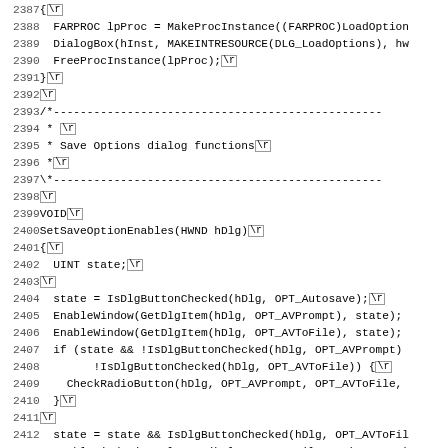[Figure (screenshot): Source code listing (C/C++) showing lines 2387-2419, including FreeProcInstance, a comment block for Save Options dialog functions, SetSaveOptionEnables function, and SaveOptionsDialog callback declaration.]